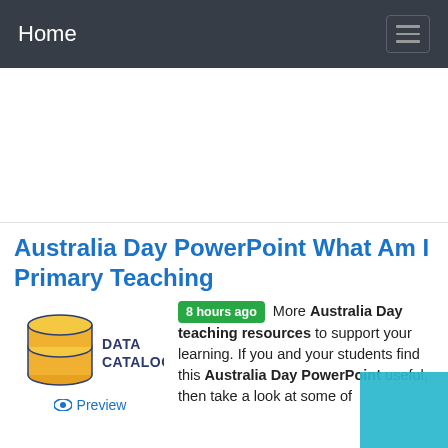Home
[Figure (other): White advertisement/placeholder area]
Australia Day PowerPoint What Am I Primary Teaching
[Figure (logo): Data Catalog logo with orange coin/cylinder stack icon and DATA CATALOG text]
8 hours ago More Australia Day teaching resources to support your learning. If you and your students find this Australia Day PowerPoint useful, then take a look at some of
Preview